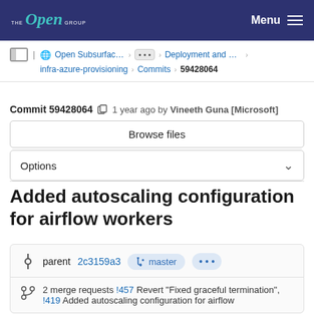The Open Group — Menu
Open Subsurface ... > ... > Deployment and Ope... > infra-azure-provisioning > Commits > 59428064
Commit 59428064  1 year ago by Vineeth Guna [Microsoft]
Browse files
Options
Added autoscaling configuration for airflow workers
parent 2c3159a3  master  ...
2 merge requests !457 Revert "Fixed graceful termination", !419 Added autoscaling configuration for airflow